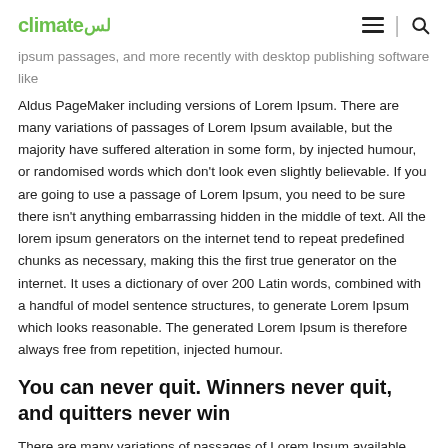climate [Arabic logo text]
ipsum passages, and more recently with desktop publishing software like Aldus PageMaker including versions of Lorem Ipsum. There are many variations of passages of Lorem Ipsum available, but the majority have suffered alteration in some form, by injected humour, or randomised words which don't look even slightly believable. If you are going to use a passage of Lorem Ipsum, you need to be sure there isn't anything embarrassing hidden in the middle of text. All the lorem ipsum generators on the internet tend to repeat predefined chunks as necessary, making this the first true generator on the internet. It uses a dictionary of over 200 Latin words, combined with a handful of model sentence structures, to generate Lorem Ipsum which looks reasonable. The generated Lorem Ipsum is therefore always free from repetition, injected humour.
You can never quit. Winners never quit, and quitters never win
There are many variations of passages of Lorem Ipsum available, but the majority have suffered alteration in some form, by injected humour, or randomised words which don't look even slightly believable. If you are going